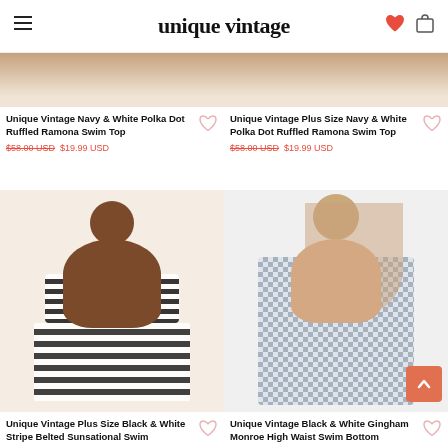unique vintage
[Figure (photo): Partial top of product image - Unique Vintage Navy & White Polka Dot Ruffled Ramona Swim Top]
Unique Vintage Navy & White Polka Dot Ruffled Ramona Swim Top
$58.00 USD  $19.99 USD
[Figure (photo): Partial top of product image - Unique Vintage Plus Size Navy & White Polka Dot Ruffled Ramona Swim Top]
Unique Vintage Plus Size Navy & White Polka Dot Ruffled Ramona Swim Top
$58.00 USD  $19.99 USD
[Figure (photo): Model wearing Unique Vintage Plus Size Black & White Stripe Belted Sunsational Swim set]
Unique Vintage Plus Size Black & White Stripe Belted Sunsational Swim
[Figure (photo): Model wearing Unique Vintage Black & White Gingham Monroe High Waist Swim Bottom]
Unique Vintage Black & White Gingham Monroe High Waist Swim Bottom